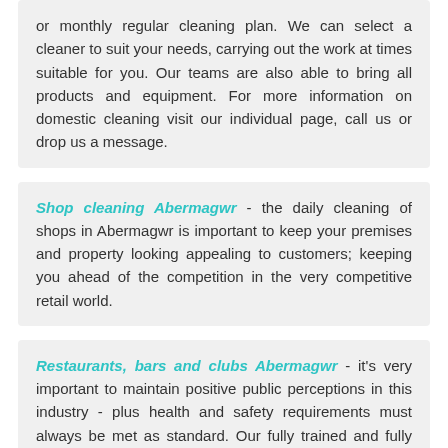or monthly regular cleaning plan. We can select a cleaner to suit your needs, carrying out the work at times suitable for you. Our teams are also able to bring all products and equipment. For more information on domestic cleaning visit our individual page, call us or drop us a message.
Shop cleaning Abermagwr - the daily cleaning of shops in Abermagwr is important to keep your premises and property looking appealing to customers; keeping you ahead of the competition in the very competitive retail world.
Restaurants, bars and clubs Abermagwr - it's very important to maintain positive public perceptions in this industry - plus health and safety requirements must always be met as standard. Our fully trained and fully vetted cleaners are well versed in what these are, plus how to keep your premises looking amazing. Our cleaners work around the clock (at dedicated times to suit your business and property needs) delivering top quality results every day for a range of clients.